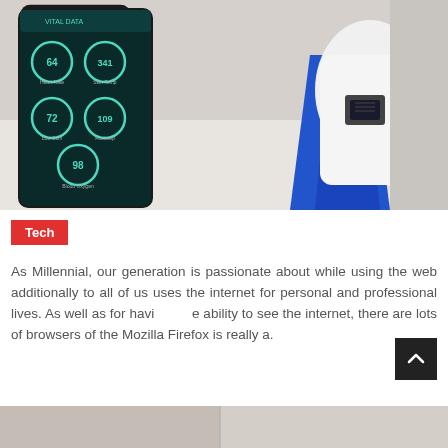[Figure (photo): A smartphone displaying a health monitoring app with circular metric indicators showing values 64, 341, 72, 109, 98, next to a face mask with an embedded electronic sensor module, mounted on a blue 3D-printed stand on a white surface.]
Tech
As Millennial, our generation is passionate about while using the web additionally to all of us uses the internet for personal and professional lives. As well as for having the ability to see the internet, there are lots of browsers of the Mozilla Firefox is really a.
[Figure (photo): Partial view of a person at the bottom of the page, cropped.]